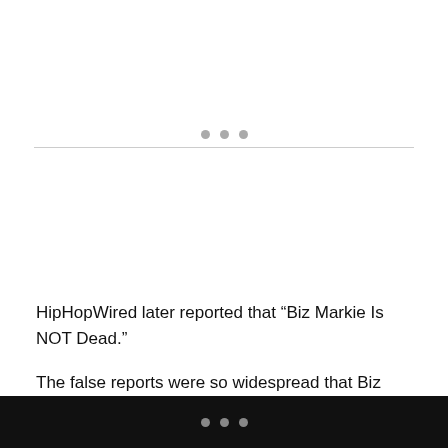[Figure (other): Three dots above a horizontal divider line, used as a section separator]
HipHopWired later reported that “Biz Markie Is NOT Dead.”
The false reports were so widespread that Biz Markie’s wife was compelled to speak out and confirm that her husband
• • •